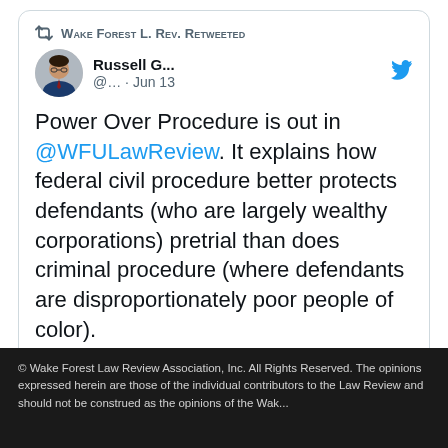[Figure (screenshot): Embedded tweet card showing a retweet by Wake Forest L. Rev. of Russell G... (@...) posted Jun 13. Tweet text: Power Over Procedure is out in @WFULawReview. It explains how federal civil procedure better protects defendants (who are largely wealthy corporations) pretrial than does criminal procedure (where defendants are disproportionately poor people of color).]
© Wake Forest Law Review Association, Inc. All Rights Reserved. The opinions expressed herein are those of the individual contributors to the Law Review and should not be construed as the opinions of the Wak...